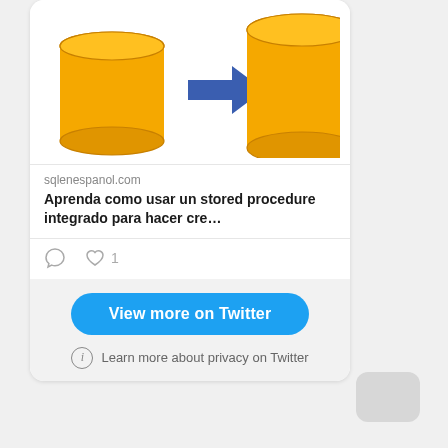[Figure (illustration): Two yellow database cylinder icons with a blue arrow pointing from the smaller left cylinder to the larger right cylinder, representing database migration or copy operation.]
sqlenespanol.com
Aprenda como usar un stored procedure integrado para hacer cre…
1
View more on Twitter
Learn more about privacy on Twitter